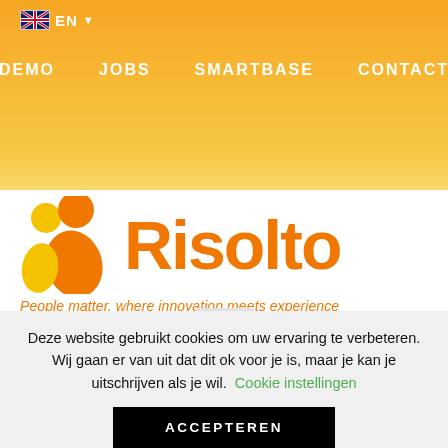EN
DEMO  JOBS  SMARTBASE  CONTACT
[Figure (logo): Risolto logo with orange icon of two people and text 'Risolto' in orange, tagline: People matter, where innovation meets experience]
[Figure (other): Hamburger menu icon with three horizontal lines in a light grey rounded rectangle]
Deze website gebruikt cookies om uw ervaring te verbeteren. Wij gaan er van uit dat dit ok voor je is, maar je kan je uitschrijven als je wil. Cookie instellingen
ACCEPTEREN